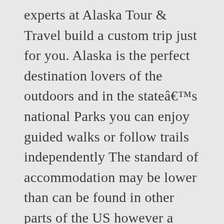experts at Alaska Tour & Travel build a custom trip just for you. Alaska is the perfect destination lovers of the outdoors and in the stateâs national Parks you can enjoy guided walks or follow trails independently The standard of accommodation may be lower than can be found in other parts of the US however a stay at a rustic lodge in the wilderness is â¦ As you fill out the form below, a suggested travel expert will appear on the right. Ziua 2: Vancouver âî Îmbarcare pe vasul de croazierÄ Anchorage is Alaska's most populated community, also affectionately referred to as 'Alaska's biggest village.' Kuoni continually seeks to improve all facets of their organization. Se rendre dans